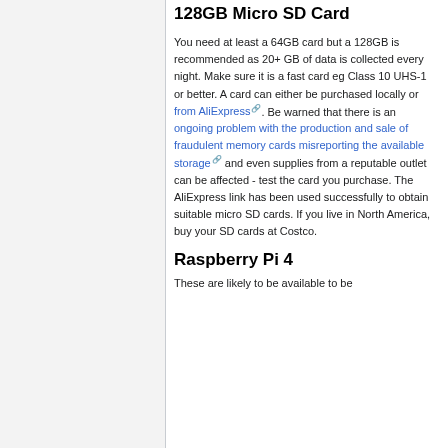128GB Micro SD Card
You need at least a 64GB card but a 128GB is recommended as 20+ GB of data is collected every night. Make sure it is a fast card eg Class 10 UHS-1 or better. A card can either be purchased locally or from AliExpress. Be warned that there is an ongoing problem with the production and sale of fraudulent memory cards misreporting the available storage and even supplies from a reputable outlet can be affected - test the card you purchase. The AliExpress link has been used successfully to obtain suitable micro SD cards. If you live in North America, buy your SD cards at Costco.
Raspberry Pi 4
These are likely to be available to be